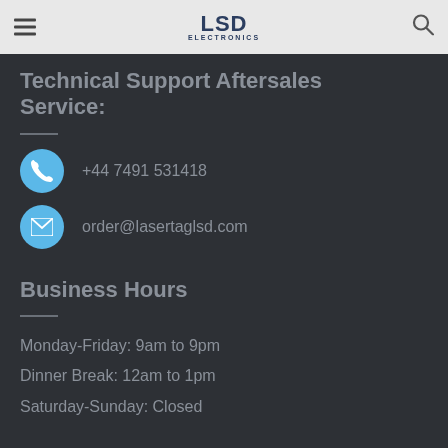LSD Electronics
Technical Support Aftersales Service:
+44 7491 531418
order@lasertaglsd.com
Business Hours
Monday-Friday: 9am to 9pm
Dinner Break: 12am to 1pm
Saturday-Sunday: Closed